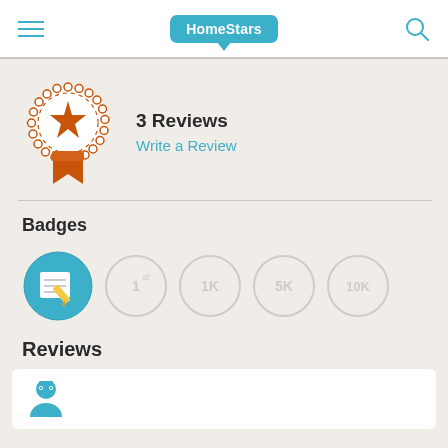HomeStars
[Figure (illustration): Orange rosette/badge award icon with a star in the center and ribbon at the bottom]
3 Reviews
Write a Review
Badges
[Figure (illustration): Row of badge icons: active blue badge with pencil/notepad, and greyed-out badges for 1st place, 1K, 5K, 10K]
Reviews
[Figure (illustration): HomeStars user avatar icon (blue figure) partially visible at bottom of page]